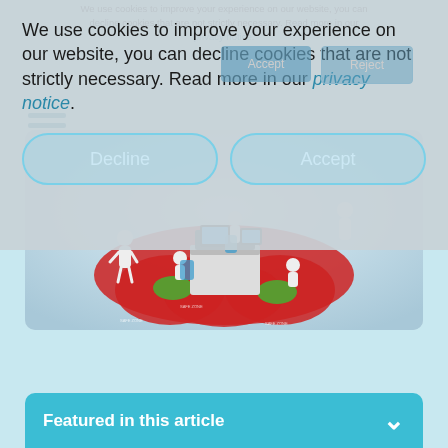We use cookies to improve your experience on our website, you can decline cookies that are not strictly necessary. Read more in our privacy notice.
We use cookies to improve your experience on our website, you can decline cookies that are not strictly necessary. Read more in our privacy notice.
[Figure (screenshot): Cookie consent overlay showing Accept and Reject buttons over a website with a hamburger menu, an office workspace illustration with people around desks on a red safety-zone carpet, and a 'Featured in this article' bar at the bottom.]
Featured in this article